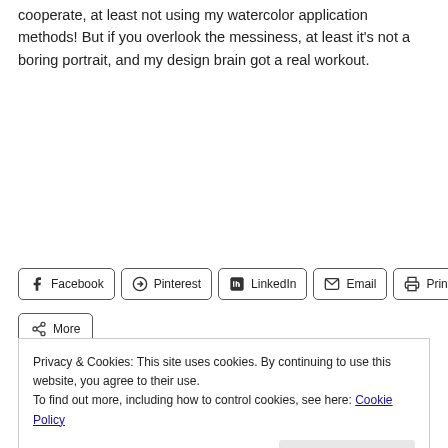cooperate, at least not using my watercolor application methods! But if you overlook the messiness, at least it's not a boring portrait, and my design brain got a real workout.
Facebook | Pinterest | LinkedIn | Email | Print
More
Privacy & Cookies: This site uses cookies. By continuing to use this website, you agree to their use.
To find out more, including how to control cookies, see here: Cookie Policy
Close and accept